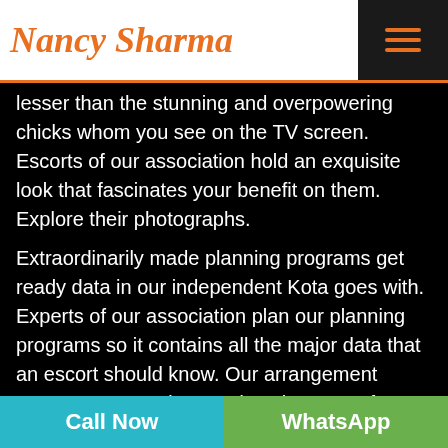Nancy Sharma
lesser than the stunning and overpowering chicks whom you see on the TV screen. Escorts of our association hold an exquisite look that fascinates your benefit on them. Explore their photographs.
Extraordinarily made planning programs get ready data in our independent Kota goes with. Experts of our association plan our planning programs so it contains all the major data that an escort should know. Our arrangement programs are serious and each escort of our office needs to pass it with splendid engravings. Staying as one of the most reliable workplaces in this industry, we recollect incalculable estimable escorts for our
Call Now   WhatsApp